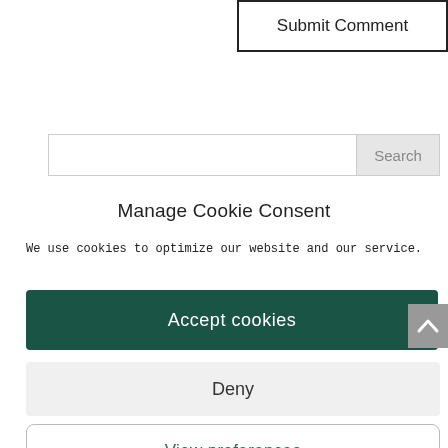Submit Comment
[Figure (screenshot): Search input field with Search button]
Manage Cookie Consent
We use cookies to optimize our website and our service.
Accept cookies
Deny
View preferences